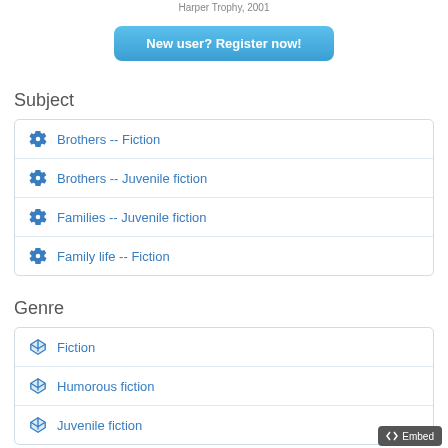Harper Trophy, 2001
New user? Register now!
Subject
Brothers -- Fiction
Brothers -- Juvenile fiction
Families -- Juvenile fiction
Family life -- Fiction
Genre
Fiction
Humorous fiction
Juvenile fiction
Embed